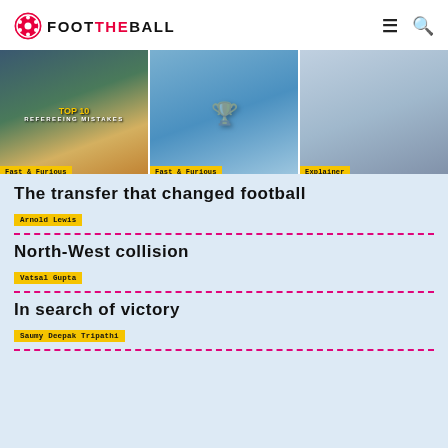FOOT THE BALL
[Figure (photo): Three football image cards with tags: Fast & Furious, Fast & Furious, Explainer]
August 20, 2022  August 20, 2022  August 20, 2022
The transfer that changed football
Arnold Lewis
North-West collision
Vatsal Gupta
In search of victory
Saumy Deepak Tripathi